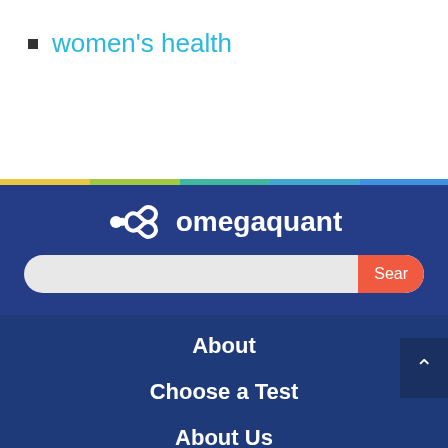women's health
[Figure (screenshot): OmegaQuant website header with logo showing infinity symbol and search bar]
About
Choose a Test
About Us
How It Works
Blog
Media Coverage